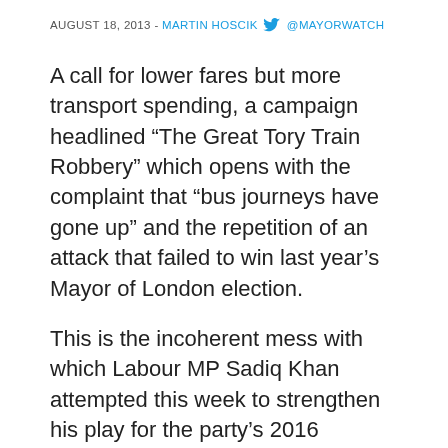AUGUST 18, 2013 - MARTIN HOSCIK @MAYORWATCH
A call for lower fares but more transport spending, a campaign headlined “The Great Tory Train Robbery” which opens with the complaint that “bus journeys have gone up” and the repetition of an attack that failed to win last year’s Mayor of London election.
This is the incoherent mess with which Labour MP Sadiq Khan attempted this week to strengthen his play for the party’s 2016 Mayoral nomination.
A couple of days ago Khan delivered a